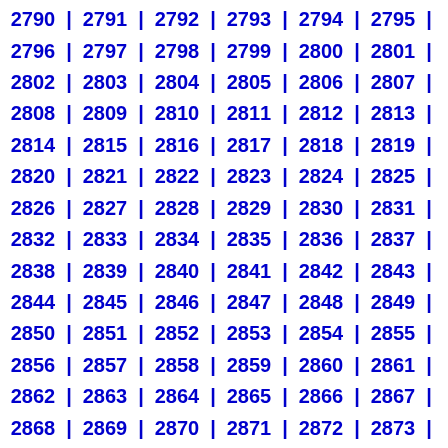2790 | 2791 | 2792 | 2793 | 2794 | 2795 | 2796 | 2797 | 2798 | 2799 | 2800 | 2801 | 2802 | 2803 | 2804 | 2805 | 2806 | 2807 | 2808 | 2809 | 2810 | 2811 | 2812 | 2813 | 2814 | 2815 | 2816 | 2817 | 2818 | 2819 | 2820 | 2821 | 2822 | 2823 | 2824 | 2825 | 2826 | 2827 | 2828 | 2829 | 2830 | 2831 | 2832 | 2833 | 2834 | 2835 | 2836 | 2837 | 2838 | 2839 | 2840 | 2841 | 2842 | 2843 | 2844 | 2845 | 2846 | 2847 | 2848 | 2849 | 2850 | 2851 | 2852 | 2853 | 2854 | 2855 | 2856 | 2857 | 2858 | 2859 | 2860 | 2861 | 2862 | 2863 | 2864 | 2865 | 2866 | 2867 | 2868 | 2869 | 2870 | 2871 | 2872 | 2873 |